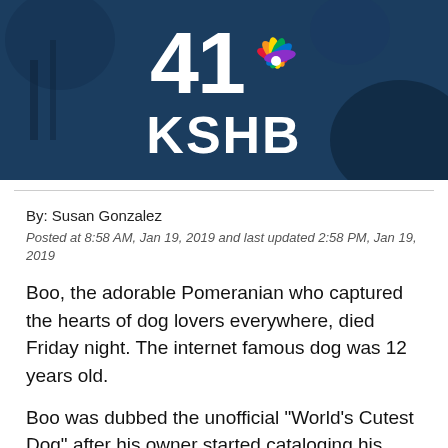[Figure (logo): 41 KSHB NBC affiliate logo on dark blue background with NBC peacock symbol]
By: Susan Gonzalez
Posted at 8:58 AM, Jan 19, 2019 and last updated 2:58 PM, Jan 19, 2019
Boo, the adorable Pomeranian who captured the hearts of dog lovers everywhere, died Friday night. The internet famous dog was 12 years old.
Boo was dubbed the unofficial "World's Cutest Dog" after his owner started cataloging his furry little face and